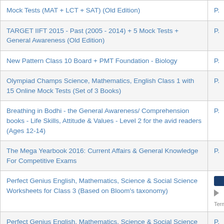| Book Title | P... |
| --- | --- |
| Mock Tests (MAT + LCT + SAT) (Old Edition) | P. |
| TARGET IIFT 2015 - Past (2005 - 2014) + 5 Mock Tests + General Awareness (Old Edition) | P. |
| New Pattern Class 10 Board + PMT Foundation - Biology | P. |
| Olympiad Champs Science, Mathematics, English Class 1 with 15 Online Mock Tests (Set of 3 Books) | P. |
| Breathing in Bodhi - the General Awareness/ Comprehension books - Life Skills, Attitude & Values - Level 2 for the avid readers (Ages 12-14) | P. |
| The Mega Yearbook 2016: Current Affairs & General Knowledge For Competitive Exams | P. |
| Perfect Genius English, Mathematics, Science & Social Science Worksheets for Class 3 (Based on Bloom's taxonomy) | P. |
| Perfect Genius English, Mathematics, Science & Social Science Worksheets for Class 5 (Based on Bloom's | P. |